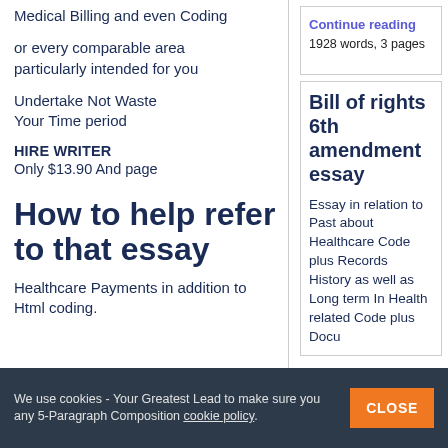Medical Billing and even Coding
or every comparable area particularly intended for you
Undertake Not Waste Your Time period
HIRE WRITER
Only $13.90 And page
How to help refer to that essay
Healthcare Payments in addition to Html coding.
Continue reading
1928 words, 3 pages
Bill of rights 6th amendment essay
Essay in relation to Past about Healthcare Code plus Records History as well as Long term In Health related Code plus Docu
We use cookies - Your Greatest Lead to make sure you any 5-Paragraph Composition cookie policy.